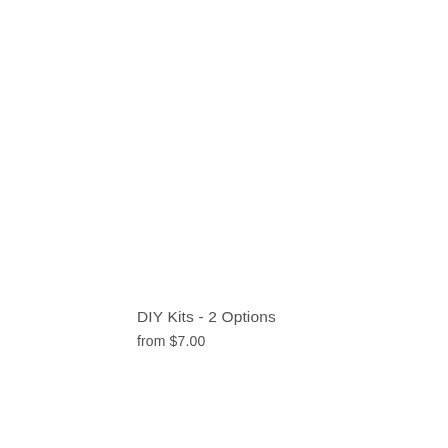DIY Kits - 2 Options
from $7.00
Leading Ligh... Number Kit
$42.00